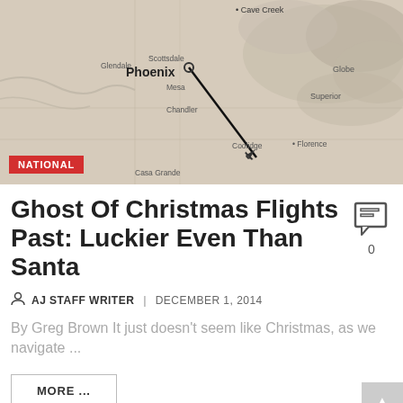[Figure (map): Aerial/terrain map of the Phoenix, Arizona area showing cities including Cave Creek, Glendale, Scottsdale, Phoenix, Mesa, Chandler, Globe, Superior, Coolidge, Florence, and Casa Grande. A black diagonal line is drawn from the Scottsdale/Phoenix area down to near Coolidge/Florence, suggesting a flight path. A small airplane icon appears at the southern end of the line.]
Ghost Of Christmas Flights Past: Luckier Even Than Santa
AJ STAFF WRITER | DECEMBER 1, 2014
By Greg Brown It just doesn't seem like Christmas, as we navigate ...
MORE ...